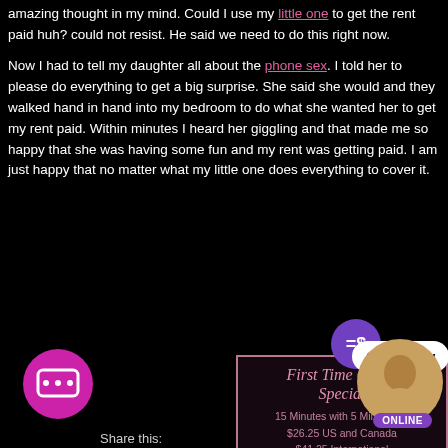amazing thought in my mind. Could I use my little one to get the rent paid huh? could not resist. He said we need to do this right now.
Now I had to tell my daughter all about the phone sex. I told her to please do everything to get a big surprise. She said she would and they walked hand in hand into my bedroom to do what she wanted her to get my rent paid. Within minutes I heard her giggling and that made me so happy that she was having some fun and my rent was getting paid. I am just happy that no matter what my little one does everything to cover it.
[Figure (infographic): Advertisement box with dark background and pink border. Title in pink italic script: 'First Time Caller Special'. Body text: '15 Minutes with 5 Minutes Free $26.25 US and Canada $41.25 International'. Then: 'Want to win free minutes? Click picture to see how!']
[Figure (illustration): Chat widget with message bubble icon (magenta circle with chat icon), coin/dollar icon, Chat Now button, and a circular image of a woman with ONLINE badge.]
Share this: